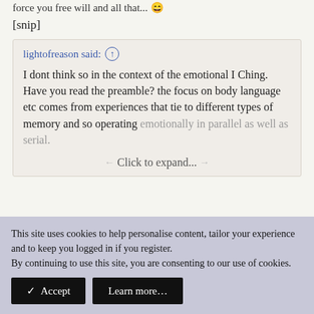force you   free will and all that... 😄
[snip]
lightofreason said: ↑
I dont think so in the context of the emotional I Ching. Have you read the preamble? the focus on body language etc comes from experiences that tie to different types of memory and so operating emotionally in parallel as well as serial.
Click to expand...
This site uses cookies to help personalise content, tailor your experience and to keep you logged in if you register.
By continuing to use this site, you are consenting to our use of cookies.
✓ Accept
Learn more…